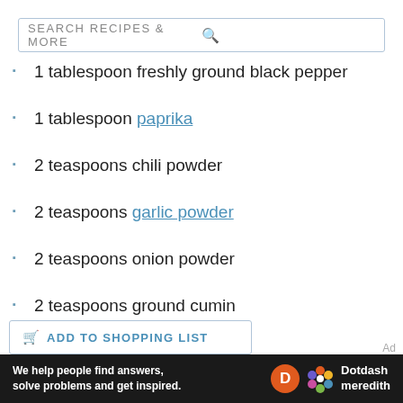SEARCH RECIPES & MORE
1 tablespoon freshly ground black pepper
1 tablespoon paprika
2 teaspoons chili powder
2 teaspoons garlic powder
2 teaspoons onion powder
2 teaspoons ground cumin
1 teaspoon cayenne
ADD TO SHOPPING LIST
We help people find answers, solve problems and get inspired. Dotdash meredith